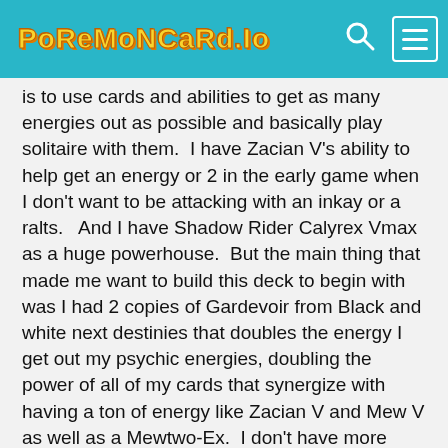PokemonCard.Io
is to use cards and abilities to get as many energies out as possible and basically play solitaire with them.  I have Zacian V's ability to help get an energy or 2 in the early game when I don't want to be attacking with an inkay or a ralts.   And I have Shadow Rider Calyrex Vmax as a huge powerhouse.  But the main thing that made me want to build this deck to begin with was I had 2 copies of Gardevoir from Black and white next destinies that doubles the energy I get out my psychic energies, doubling the power of all of my cards that synergize with having a ton of energy like Zacian V and Mew V as well as a Mewtwo-Ex.  I don't have more than one copy of a lot of the V cards but I'm trying to get more, I am very open to suggestions for what I could take out and put in. I don't have a lot of the meta support cards like Raihan or Quick ball but I'm trying to